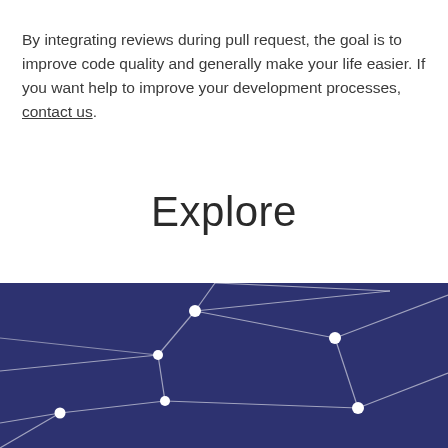By integrating reviews during pull request, the goal is to improve code quality and generally make your life easier. If you want help to improve your development processes, contact us.
Explore
[Figure (illustration): Dark navy blue background with a constellation/network graph illustration showing white nodes (circles) connected by thin white lines forming a geometric network pattern.]